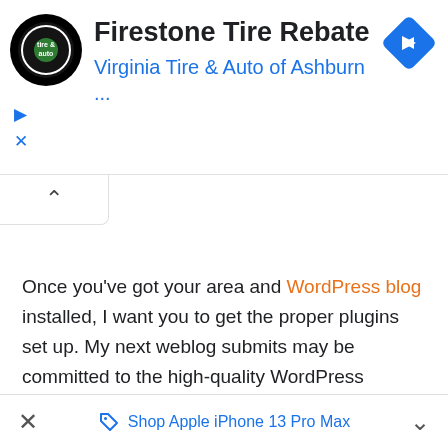[Figure (screenshot): Advertisement banner for Firestone Tire Rebate by Virginia Tire & Auto of Ashburn with a circular logo, blue navigation arrow icon, play and close controls, and a collapsed tab arrow below]
Once you've got your area and WordPress blog installed, I want you to get the proper plugins set up. My next weblog submits may be committed to the high-quality WordPress plugins for people trying to make money online and make money working from home with
[Figure (screenshot): Bottom ad bar with close X button and 'Shop Apple iPhone 13 Pro Max' link with expand chevron]